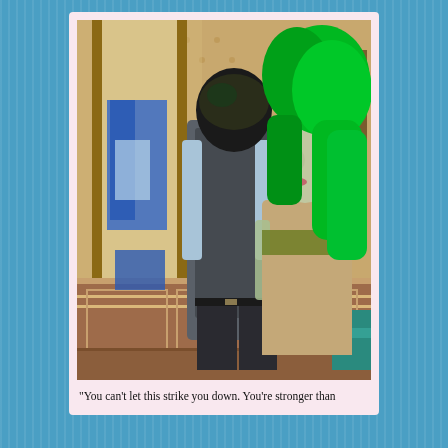[Figure (screenshot): Screenshot from The Sims 3 video game showing two Sim characters embracing indoors. One character has bright green hair and pale greenish skin, wearing a khaki/tan dress. The other character faces away, wearing a grey vest and light blue shirt with dark pants. The room has polka-dot wallpaper, blue curtains, wainscoting, and a grandfather clock visible on the wall.]
“You can’t let this strike you down. You’re stronger than